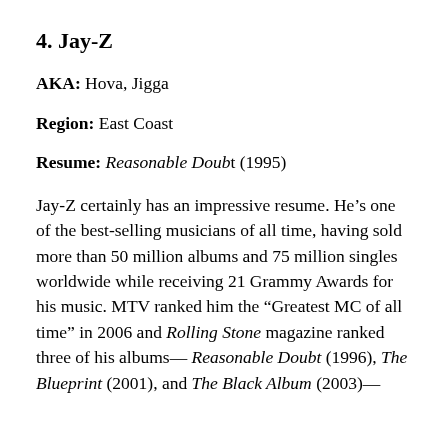4. Jay-Z
AKA: Hova, Jigga
Region: East Coast
Resume: Reasonable Doubt (1995)
Jay-Z certainly has an impressive resume. He's one of the best-selling musicians of all time, having sold more than 50 million albums and 75 million singles worldwide while receiving 21 Grammy Awards for his music. MTV ranked him the “Greatest MC of all time” in 2006 and Rolling Stone magazine ranked three of his albums— Reasonable Doubt (1996), The Blueprint (2001), and The Black Album (2003)—